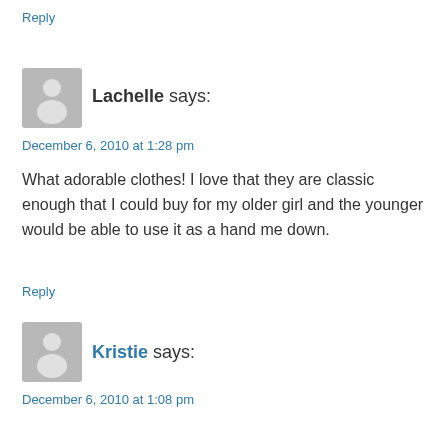Reply
[Figure (illustration): Generic user avatar icon, grey square with white silhouette of a person]
Lachelle says:
December 6, 2010 at 1:28 pm
What adorable clothes! I love that they are classic enough that I could buy for my older girl and the younger would be able to use it as a hand me down.
Reply
[Figure (illustration): Generic user avatar icon, grey square with white silhouette of a person]
Kristie says:
December 6, 2010 at 1:08 pm